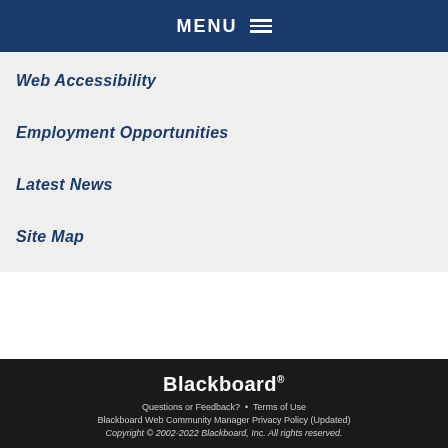MENU
Web Accessibility
Employment Opportunities
Latest News
Site Map
Blackboard
Questions or Feedback? · Terms of Use
Blackboard Web Community Manager Privacy Policy (Updated)
Copyright © 2002-2022 Blackboard, Inc. All rights reserved.